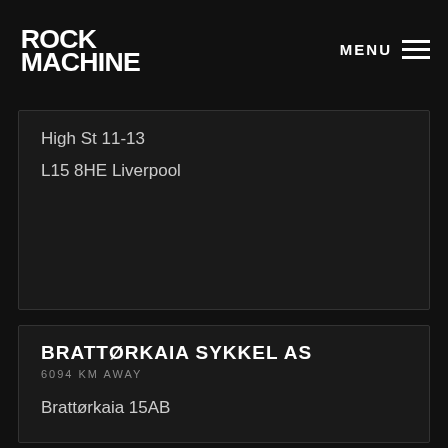ROCK MACHINE | MENU
High St 11-13
L15 8HE Liverpool
BRATTØRKAIA SYKKEL AS
6094 KM AWAY
Brattørkaia 15AB